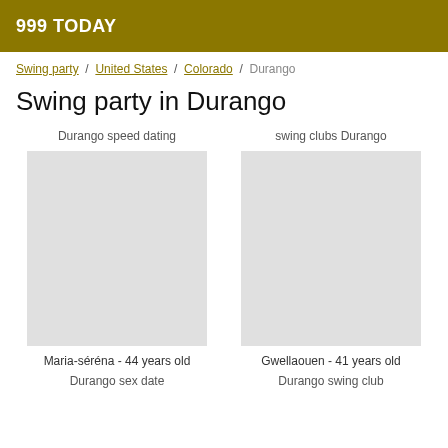999 TODAY
Swing party / United States / Colorado / Durango
Swing party in Durango
Durango speed dating
swing clubs Durango
Maria-séréna - 44 years old
Gwellaouen - 41 years old
Durango sex date
Durango swing club